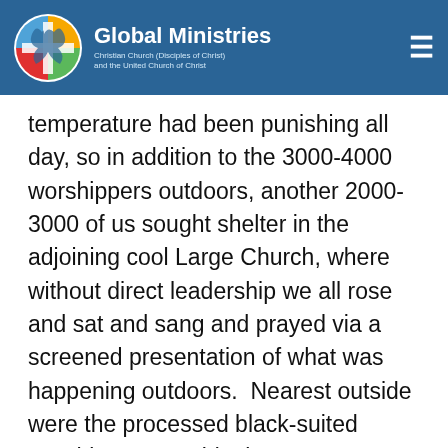Global Ministries | Christian Church (Disciples of Christ) and the United Church of Christ
temperature had been punishing all day, so in addition to the 3000-4000 worshippers outdoors, another 2000-3000 of us sought shelter in the adjoining cool Large Church, where without direct leadership we all rose and sat and sang and prayed via a screened presentation of what was happening outdoors.  Nearest outside were the processed black-suited worshippers.  Inside, just as worshipful, were the colorful members of congregations, with children, sunburns, water bottles, picnic hampers, – Reformed Boy and Girl Scouts, theology student guides in green